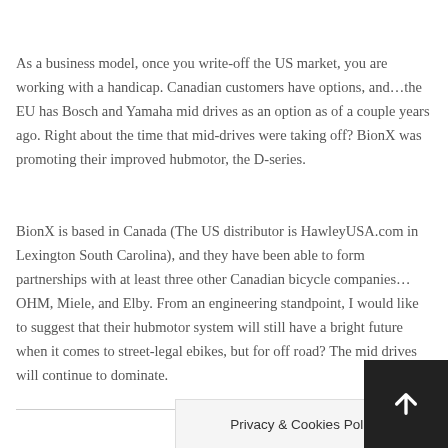As a business model, once you write-off the US market, you are working with a handicap. Canadian customers have options, and…the EU has Bosch and Yamaha mid drives as an option as of a couple years ago. Right about the time that mid-drives were taking off? BionX was promoting their improved hubmotor, the D-series.
BionX is based in Canada (The US distributor is HawleyUSA.com in Lexington South Carolina), and they have been able to form partnerships with at least three other Canadian bicycle companies…OHM, Miele, and Elby. From an engineering standpoint, I would like to suggest that their hubmotor system will still have a bright future when it comes to street-legal ebikes, but for off road? The mid drives will continue to dominate.
Privacy & Cookies Policy